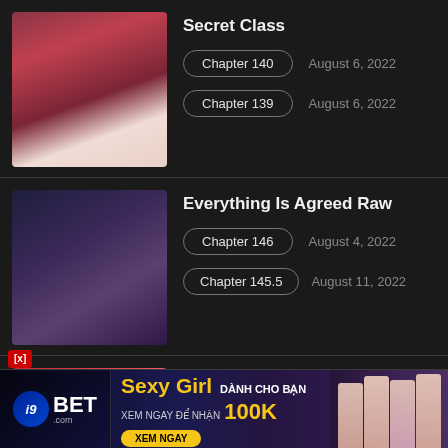Secret Class
Chapter 140    August 6, 2022
Chapter 139    August 6, 2022
Everything Is Agreed Raw
Chapter 146    August 4, 2022
Chapter 145.5    August 11, 2022
Bad Thinking Diary
Chapter 18    August 16, 2022
Chapter 17    August 9, 2022
[Figure (advertisement): i9BET.com advertisement banner: Sexy Girl DANH CHO BAN, XEM NGAY DE NHAN 100K, XEM NGAY button, with photos of girls on right side]